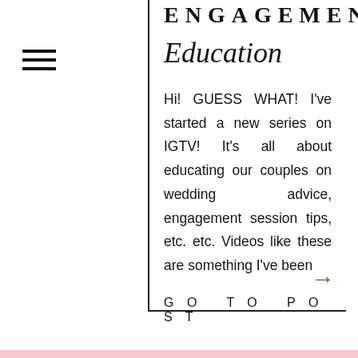[Figure (other): Hamburger menu icon with three horizontal lines]
ENGAGEMENT
Education
Hi! GUESS WHAT! I've started a new series on IGTV! It's all about educating our couples on wedding advice, engagement session tips, etc. etc. Videos like these are something I've been
GO TO POST